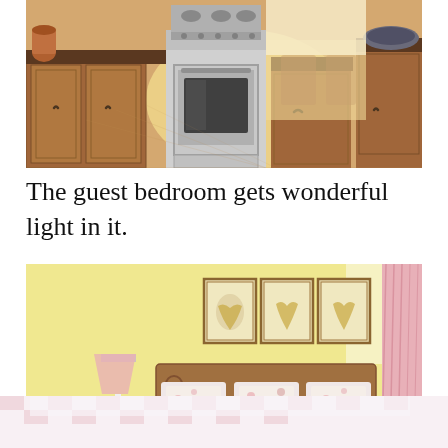[Figure (photo): Kitchen interior with wooden cabinets, stainless steel gas stove/oven range, wood flooring, and a dining area visible in the background with warm natural light.]
The guest bedroom gets wonderful light in it.
[Figure (photo): Guest bedroom interior with yellow walls, wooden bed frame with floral bedding, three botanical prints above the headboard, pink lamp on left, dark lamp on right nightstand, and pink toile curtains on the right. A black scroll-to-top button overlay is visible in the lower right of the image.]
[Figure (photo): Lower portion of guest bedroom showing pink gingham/checkered bedspread and white pillows.]